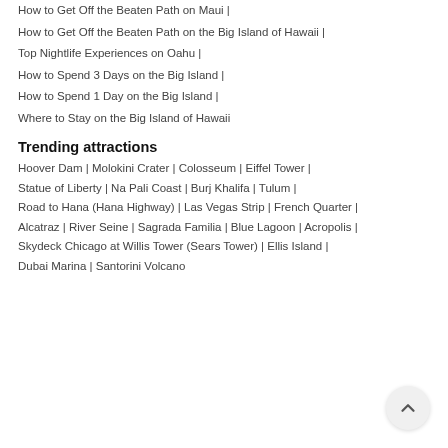How to Get Off the Beaten Path on Maui |
How to Get Off the Beaten Path on the Big Island of Hawaii |
Top Nightlife Experiences on Oahu |
How to Spend 3 Days on the Big Island |
How to Spend 1 Day on the Big Island |
Where to Stay on the Big Island of Hawaii
Trending attractions
Hoover Dam | Molokini Crater | Colosseum | Eiffel Tower | Statue of Liberty | Na Pali Coast | Burj Khalifa | Tulum | Road to Hana (Hana Highway) | Las Vegas Strip | French Quarter | Alcatraz | River Seine | Sagrada Familia | Blue Lagoon | Acropolis | Skydeck Chicago at Willis Tower (Sears Tower) | Ellis Island | Dubai Marina | Santorini Volcano